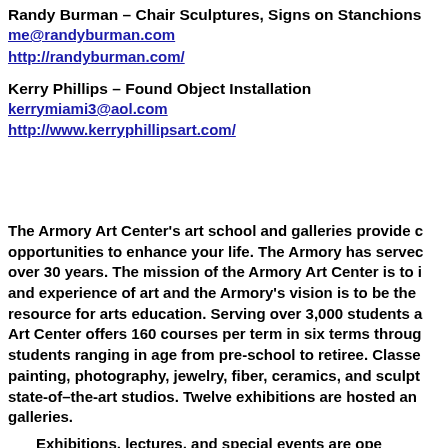Randy Burman – Chair Sculptures, Signs on Stanchions
me@randyburman.com
http://randyburman.com/
Kerry Phillips – Found Object Installation
kerrymiami3@aol.com
http://www.kerryphillipsart.com/
The Armory Art Center's art school and galleries provide opportunities to enhance your life. The Armory has served over 30 years. The mission of the Armory Art Center is to and experience of art and the Armory's vision is to be the resource for arts education. Serving over 3,000 students a Art Center offers 160 courses per term in six terms throug students ranging in age from pre-school to retiree. Classe painting, photography, jewelry, fiber, ceramics, and sculpt state-of–the-art studios. Twelve exhibitions are hosted an galleries.
Exhibitions, lectures, and special events are ope